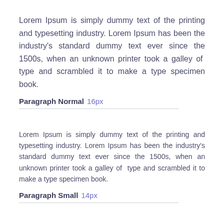Lorem Ipsum is simply dummy text of the printing and typesetting industry. Lorem Ipsum has been the industry's standard dummy text ever since the 1500s, when an unknown printer took a galley of type and scrambled it to make a type specimen book.
Paragraph Normal  16px
Lorem Ipsum is simply dummy text of the printing and typesetting industry. Lorem Ipsum has been the industry's standard dummy text ever since the 1500s, when an unknown printer took a galley of type and scrambled it to make a type specimen book.
Paragraph Small  14px